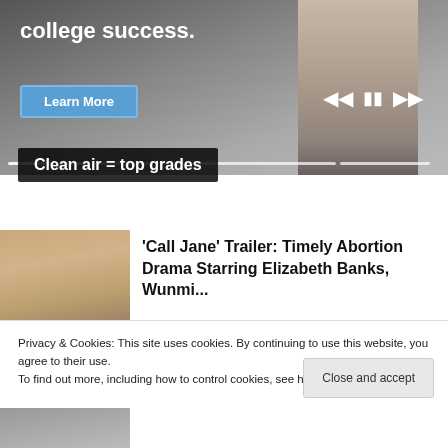[Figure (screenshot): Video banner showing a person studying on a couch with laptop, with 'college success.' text, a Learn More button, playback controls, and a progress bar.]
Clean air = top grades
[Figure (photo): Thumbnail of a woman with blonde hair for 'Call Jane' trailer article.]
'Call Jane' Trailer: Timely Abortion Drama Starring Elizabeth Banks, Wunmi...
Privacy & Cookies: This site uses cookies. By continuing to use this website, you agree to their use.
To find out more, including how to control cookies, see here: Cookie Policy
Close and accept